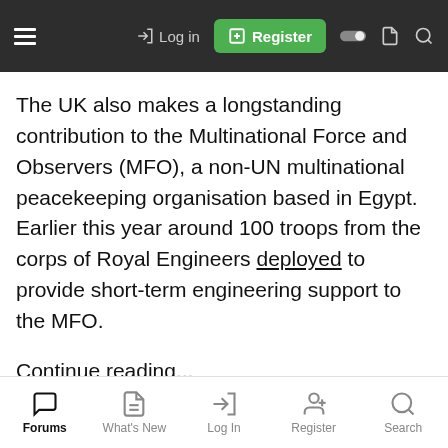Log in | Register
The UK also makes a longstanding contribution to the Multinational Force and Observers (MFO), a non-UN multinational peacekeeping organisation based in Egypt. Earlier this year around 100 troops from the corps of Royal Engineers deployed to provide short-term engineering support to the MFO.
Continue reading...
Forums | What's New | Log In | Register | Search